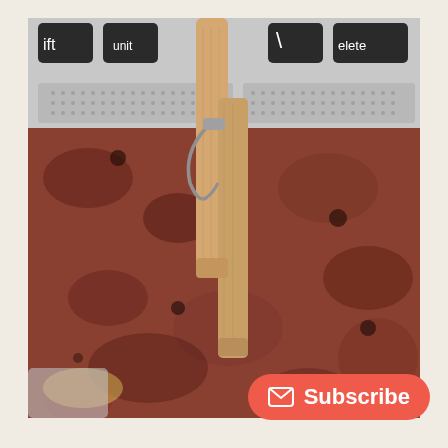[Figure (photo): A wooden clothespin clipped to the edge of a laptop, photographed against a red-brown granite countertop background. The clothespin is light tan/wood colored with a silver metal spring. The top portion shows a laptop keyboard with visible keys including 'ift', 'delete', and a backslash key.]